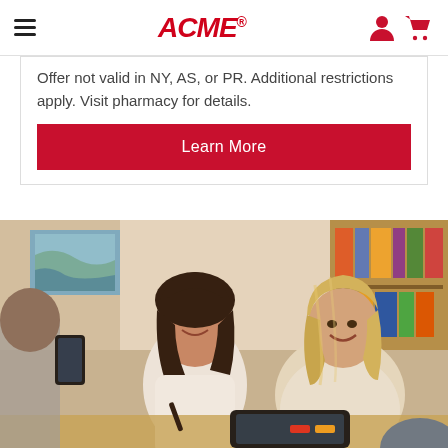ACME® — navigation bar with hamburger menu, logo, user icon, and cart icon
Offer not valid in NY, AS, or PR. Additional restrictions apply. Visit pharmacy for details.
Learn More
[Figure (photo): A smiling female teacher leaning over to help a smiling female student working at a desk in a classroom setting. Books visible on shelves in background. Other students partially visible.]